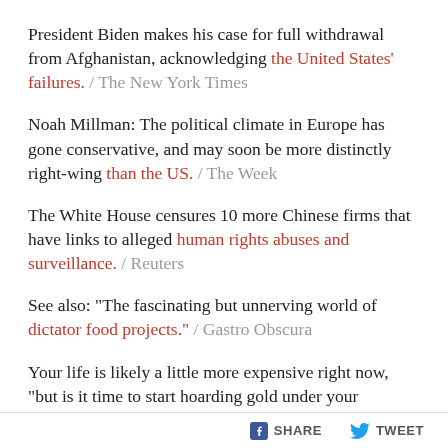President Biden makes his case for full withdrawal from Afghanistan, acknowledging the United States' failures. / The New York Times
Noah Millman: The political climate in Europe has gone conservative, and may soon be more distinctly right-wing than the US. / The Week
The White House censures 10 more Chinese firms that have links to alleged human rights abuses and surveillance. / Reuters
See also: "The fascinating but unnerving world of dictator food projects." / Gastro Obscura
Your life is likely a little more expensive right now, "but is it time to start hoarding gold under your mattress? Probably
SHARE   TWEET